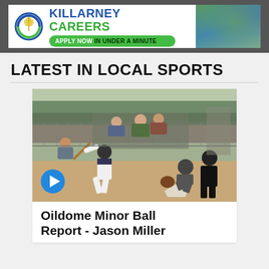[Figure (infographic): Killarney Careers banner advertisement with logo (wheat/circle icon), blue and green text saying KILLARNEY CAREERS, green pill button saying APPLY NOW IN UNDER A MINUTE, and aerial landscape photo on the right]
LATEST IN LOCAL SPORTS
[Figure (photo): Baseball action photo showing a batter swinging, catcher crouching, and umpire behind home plate, with spectators visible in background behind chain-link fence. A blue play button overlay is in the bottom-left corner.]
Oildome Minor Ball Report - Jason Miller